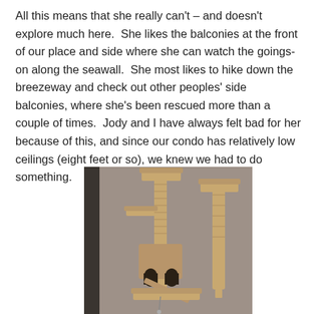All this means that she really can't – and doesn't explore much here.  She likes the balconies at the front of our place and side where she can watch the goings-on along the seawall.  She most likes to hike down the breezeway and check out other peoples' side balconies, where she's been rescued more than a couple of times.  Jody and I have always felt bad for her because of this, and since our condo has relatively low ceilings (eight feet or so), we knew we had to do something.
[Figure (photo): A tall cat tree / cat tower with multiple platforms, scratching posts wrapped in sisal rope, a small house/box with two arched openings, a ramp, and dangling toy. The structure appears in tan/beige colors against a grey-brown wall background.]